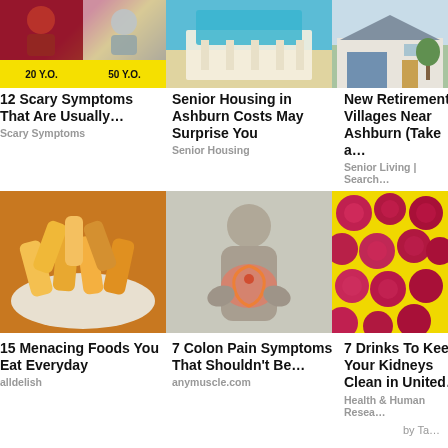[Figure (photo): Health/aging comparison photo with '20 Y.O.' and '50 Y.O.' labels on yellow banner]
12 Scary Symptoms That Are Usually…
Scary Symptoms
[Figure (photo): Senior housing/pool photo]
Senior Housing in Ashburn Costs May Surprise You
Senior Housing
[Figure (photo): Retirement village home exterior photo]
New Retirement Villages Near Ashburn (Take a…
Senior Living | Search…
[Figure (photo): French fries / tater tots on a plate]
15 Menacing Foods You Eat Everyday
alldelish
[Figure (photo): Person holding stomach with colon pain illustration]
7 Colon Pain Symptoms That Shouldn't Be…
anymuscle.com
[Figure (photo): Red beets/kidney foods on yellow background]
7 Drinks To Keep Your Kidneys Clean in United…
Health & Human Resea…
by Ta…